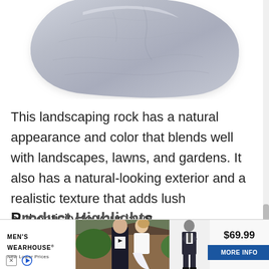[Figure (photo): A large gray landscaping rock/stone photographed against a white background, showing its natural rough texture and irregular shape.]
This landscaping rock has a natural appearance and color that blends well with landscapes, lawns, and gardens. It also has a natural-looking exterior and a realistic texture that adds lush authenticity to your lawn.
Product Highlights
[Figure (photo): Advertisement banner for Men's Wearhouse featuring a couple at a wedding (man in tuxedo, woman in white dress) and a mannequin in a dark suit, with price $69.99 and MORE INFO button.]